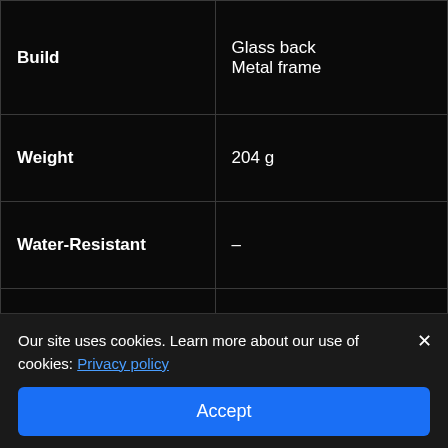| Feature | Value |
| --- | --- |
| Build | Glass back
Metal frame |
| Weight | 204 g |
| Water-Resistant | – |
| Dimensions | 163.6 × 74.6 × 8.2 mm |
|  | 6.73 inches LTPO AMOLED
120Hz refresh rate |
Our site uses cookies. Learn more about our use of cookies: Privacy policy
Accept